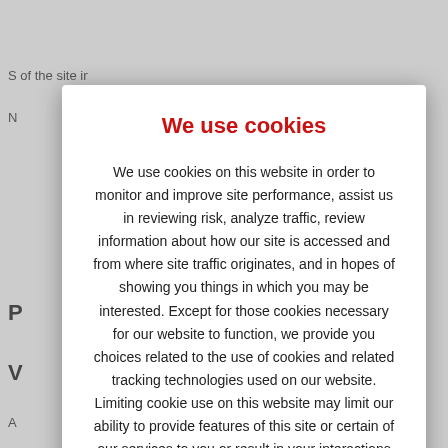S of the site information, review of final...
N...
P...
V...
A... y... h... fr...
W... ri...
We use cookies
We use cookies on this website in order to monitor and improve site performance, assist us in reviewing risk, analyze traffic, review information about how our site is accessed and from where site traffic originates, and in hopes of showing you things in which you may be interested. Except for those cookies necessary for our website to function, we provide you choices related to the use of cookies and related tracking technologies used on our website. Limiting cookie use on this website may limit our ability to provide features of this site or certain of our services to you or result in your interactions with this website being limited. You should